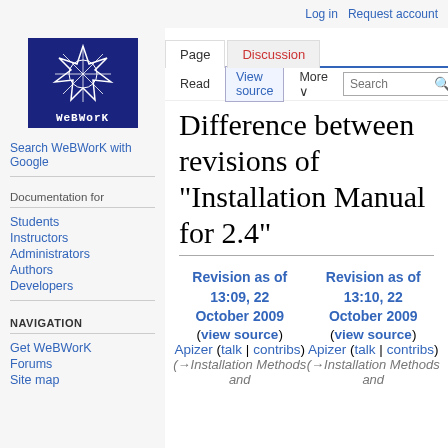Log in  Request account
[Figure (logo): WeBWorK logo — dark blue box with star geometric shape and text WeBWorK]
Search WeBWorK with Google
Documentation for
Students
Instructors
Administrators
Authors
Developers
NAVIGATION
Get WeBWorK
Forums
Site map
Difference between revisions of "Installation Manual for 2.4"
Revision as of 13:09, 22 October 2009 (view source)
Apizer (talk | contribs)
(→Installation Methods and
Revision as of 13:10, 22 October 2009 (view source)
Apizer (talk | contribs)
(→Installation Methods and